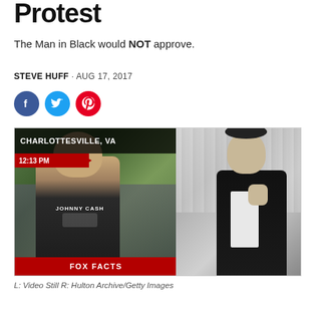Protest
The Man in Black would NOT approve.
STEVE HUFF · AUG 17, 2017
[Figure (other): Social media share buttons: Facebook (blue circle), Twitter (blue circle), Pinterest (red circle)]
[Figure (photo): Left side: TV news still from Fox Facts showing a man wearing a Johnny Cash t-shirt at Charlottesville, VA protest, timestamp 12:13 PM. Right side: Black and white photo of Johnny Cash adjusting his jacket collar.]
L: Video Still R: Hulton Archive/Getty Images